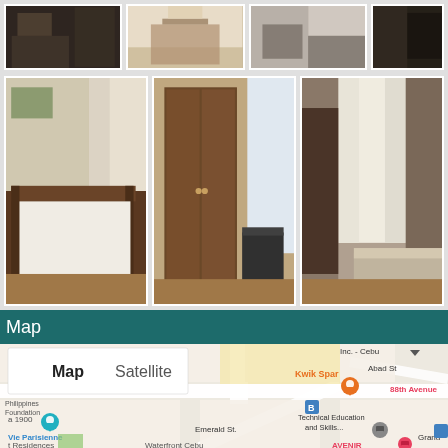[Figure (photo): Grid of room interior photos - row 1: 4 small thumbnails of bedroom/room interiors]
[Figure (photo): Grid of room interior photos - row 2: 3 larger thumbnails showing bedroom with bed, wardrobe/closet, and bedroom with window]
Map
[Figure (map): Google Maps screenshot showing area around Kwik Spar, Emerald St, Abad St, Technical Education and Skills, 88th Avenue, Vie Parisienne, Waterfront Cebu, AVENIR, Grand. Map and Satellite toggle buttons visible. Location pin (orange) shown at Kwik Spar.]